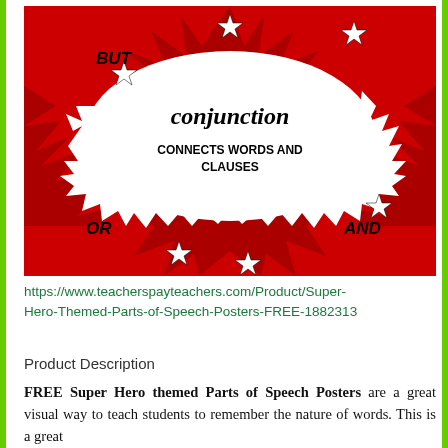[Figure (illustration): Super Hero themed conjunction poster on red background with comic explosion/burst shapes, white speech bubble in center showing 'conjunction CONNECTS WORDS AND CLAUSES', with words BUT, OR, AND around edges and white stars scattered throughout]
https://www.teacherspayteachers.com/Product/Super-Hero-Themed-Parts-of-Speech-Posters-FREE-1882313
Product Description
FREE Super Hero themed Parts of Speech Posters are a great visual way to teach students to remember the nature of words. This is a great